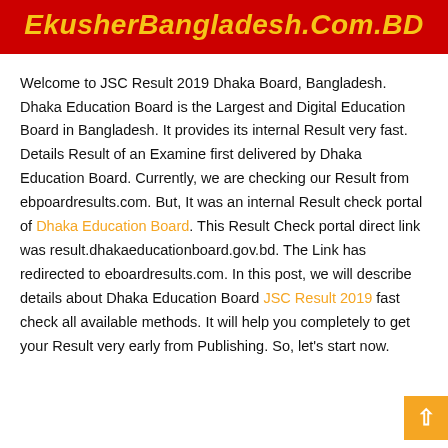EkusherBangladesh.Com.BD
Welcome to JSC Result 2019 Dhaka Board, Bangladesh. Dhaka Education Board is the Largest and Digital Education Board in Bangladesh. It provides its internal Result very fast. Details Result of an Examine first delivered by Dhaka Education Board. Currently, we are checking our Result from ebpoardresults.com. But, It was an internal Result check portal of Dhaka Education Board. This Result Check portal direct link was result.dhakaeducationboard.gov.bd. The Link has redirected to eboardresults.com. In this post, we will describe details about Dhaka Education Board JSC Result 2019 fast check all available methods. It will help you completely to get your Result very early from Publishing. So, let's start now.